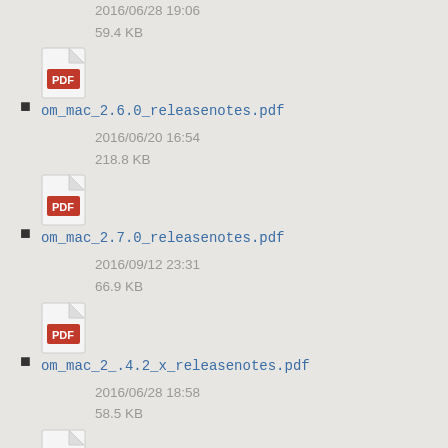2016/06/28 19:06
59.4 KB
om_mac_2.6.0_releasenotes.pdf
2016/06/20 16:54
218.8 KB
om_mac_2.7.0_releasenotes.pdf
2016/09/12 23:31
66.9 KB
om_mac_2_.4.2_x_releasenotes.pdf
2016/06/28 18:58
58.5 KB